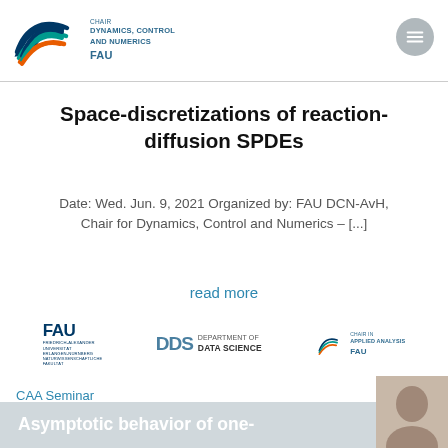[Figure (logo): FAU DCN Chair Dynamics Control and Numerics logo with stylized wave mark in blue, teal and orange]
Space-discretizations of reaction-diffusion SPDEs
Date: Wed. Jun. 9, 2021 Organized by: FAU DCN-AvH, Chair for Dynamics, Control and Numerics – [...]
read more
[Figure (logo): FAU Friedreich-Alexander Universität Erlangen-Nürnberg Naturwissenschaftliche Fakultät logo]
[Figure (logo): DDS Department of Data Science logo]
[Figure (logo): Chair in Applied Analysis FAU logo]
CAA Seminar
Asymptotic behavior of one-